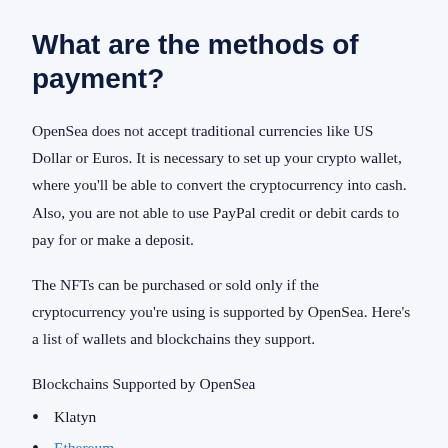What are the methods of payment?
OpenSea does not accept traditional currencies like US Dollar or Euros. It is necessary to set up your crypto wallet, where you'll be able to convert the cryptocurrency into cash. Also, you are not able to use PayPal credit or debit cards to pay for or make a deposit.
The NFTs can be purchased or sold only if the cryptocurrency you're using is supported by OpenSea. Here's a list of wallets and blockchains they support.
Blockchains Supported by OpenSea
Klatyn
Ethereum